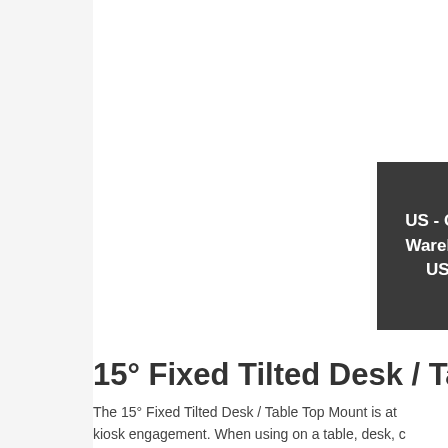US - Global Warehouse USD $
15° Fixed Tilted Desk / Tab…
The 15° Fixed Tilted Desk / Table Top Mount is at… kiosk engagement. When using on a table, desk, … the 15° of tilt is great for allowing a comfortable a… Easily mounts to a surface such as a table, counte… additional security. This mount is free standing an… are required for a portable / easily movable surfac…